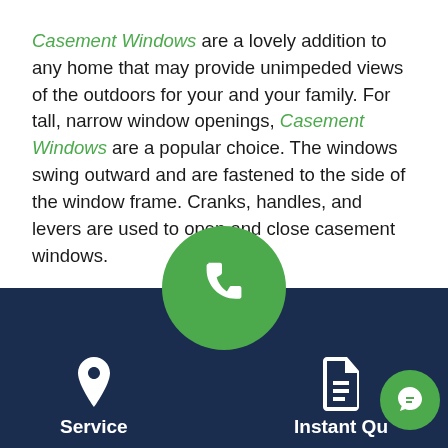Casement Windows are a lovely addition to any home that may provide unimpeded views of the outdoors for your and your family. For tall, narrow window openings, Casement Windows are a popular choice. The windows swing outward and are fastened to the side of the window frame. Cranks, handles, and levers are used to open and close casement windows.
A Casement Window opens outward to the left or right, similar to the way a door operates. They can also be known as cr... since they're...
[Figure (infographic): Dark navy footer bar with a large green phone circle button at top center, a location pin icon with 'Service' label on the left, a document icon with 'Instant Qu...' label on the right, and a small green chat circle button at bottom right.]